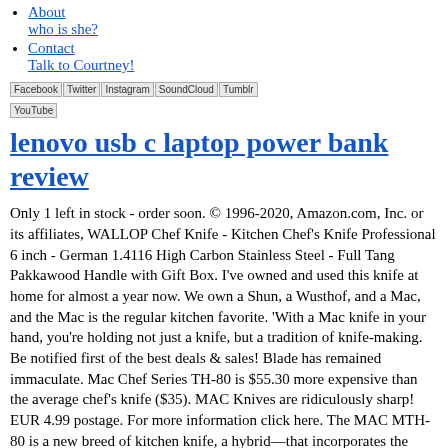About who is she?
Contact Talk to Courtney!
[Figure (other): Social media icon links: Facebook, Twitter, Instagram, SoundCloud, Tumblr, YouTube]
lenovo usb c laptop power bank review
Only 1 left in stock - order soon. © 1996-2020, Amazon.com, Inc. or its affiliates, WALLOP Chef Knife - Kitchen Chef's Knife Professional 6 inch - German 1.4116 High Carbon Stainless Steel - Full Tang Pakkawood Handle with Gift Box. I've owned and used this knife at home for almost a year now. We own a Shun, a Wusthof, and a Mac, and the Mac is the regular kitchen favorite. 'With a Mac knife in your hand, you're holding not just a knife, but a tradition of knife-making. Be notified first of the best deals & sales! Blade has remained immaculate. Mac Chef Series TH-80 is $55.30 more expensive than the average chef's knife ($35). MAC Knives are ridiculously sharp! EUR 4.99 postage. For more information click here. The MAC MTH-80 is a new breed of kitchen knife, a hybrid—that incorporates the harder and thinner Japanese steel with a Western-shaped blade. This 8 chef's knife is